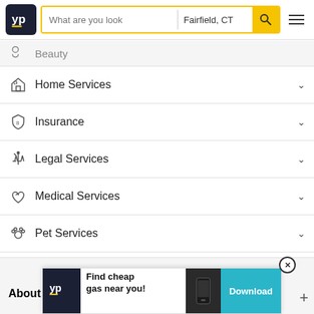[Figure (screenshot): YellowPages (YP) website header with logo, search bar showing 'What are you look' placeholder and 'Fairfield, CT' location, yellow search button, and hamburger menu]
Beauty
Home Services
Insurance
Legal Services
Medical Services
Pet Services
Restaurants
About
[Figure (screenshot): YP advertisement banner: Find cheap gas near you! with Download button]